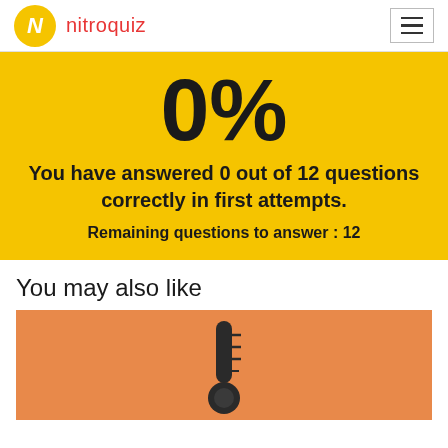nitroquiz
[Figure (infographic): Yellow background score box showing 0% in large bold text, with text 'You have answered 0 out of 12 questions correctly in first attempts.' and 'Remaining questions to answer : 12']
You may also like
[Figure (illustration): Orange background card with a thermometer icon]